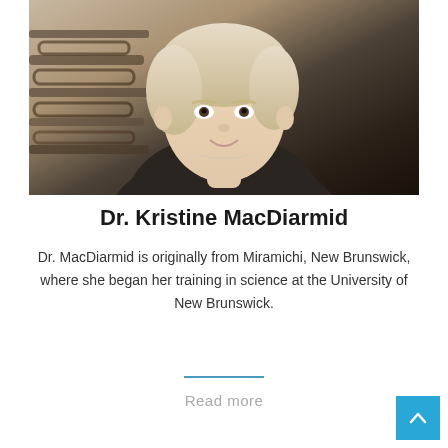[Figure (photo): Professional headshot of Dr. Kristine MacDiarmid, a woman with short blonde hair wearing a black sweater, posed in front of an eyeglasses display rack.]
Dr. Kristine MacDiarmid
Dr. MacDiarmid is originally from Miramichi, New Brunswick, where she began her training in science at the University of New Brunswick.
Read more